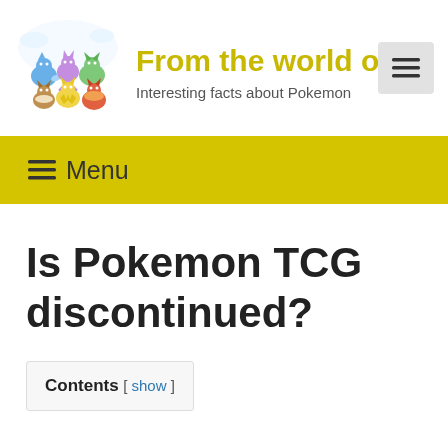[Figure (illustration): Colorful illustration of multiple Eevee Pokemon evolutions grouped together with clouds in the background — site logo]
From the world of po
Interesting facts about Pokemon
[Figure (other): Hamburger menu button (three horizontal lines) on a light gray background]
≡ Menu
Is Pokemon TCG discontinued?
Contents [ show ]